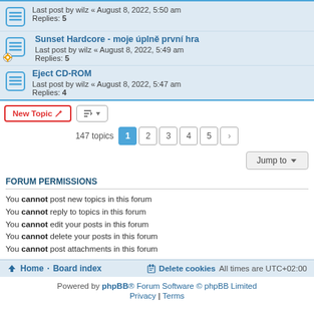Last post by wilz « August 8, 2022, 5:50 am
Replies: 5
Sunset Hardcore - moje úplně první hra
Last post by wilz « August 8, 2022, 5:49 am
Replies: 5
Eject CD-ROM
Last post by wilz « August 8, 2022, 5:47 am
Replies: 4
New Topic | Sort | 147 topics | 1 2 3 4 5 > | Jump to
FORUM PERMISSIONS
You cannot post new topics in this forum
You cannot reply to topics in this forum
You cannot edit your posts in this forum
You cannot delete your posts in this forum
You cannot post attachments in this forum
Home · Board index | Delete cookies | All times are UTC+02:00
Powered by phpBB® Forum Software © phpBB Limited
Privacy | Terms